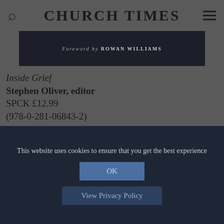CHURCH TIMES
[Figure (photo): Book cover image strip showing dark background with text 'Foreword by ROWAN WILLIAMS']
Inside Grief
Stephen Oliver, editor
SPCK £12.99
(978-0-281-06843-2)
Church Times Bookshop £11.70 (Use code CT798 )
Time to Say Goodbye: Steps in learning to grieve
Barbara Pymm
This website uses cookies to ensure that you get the best experience